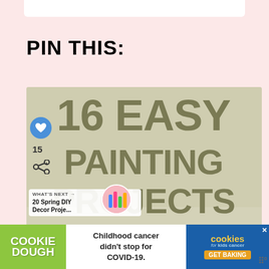PIN THIS:
[Figure (illustration): Promotional image with large text reading '16 EASY PAINTING PROJECTS FOR BEGINNER ARTISTS' overlaid on a light olive/beige background with a partially visible painted canvas in the lower right. Social media UI overlays on the left: a blue heart button, count of 15, a share button, and a 'What's Next' widget showing '20 Spring DIY Decor Proje...' with a colorful thumbnail.]
[Figure (infographic): Advertisement banner at the bottom: Cookie Dough text on green background on the left, white center with text 'Childhood cancer didn't stop for COVID-19.', and right section in blue with 'cookies for kids cancer' logo and 'GET BAKING' button. Close X button visible.]